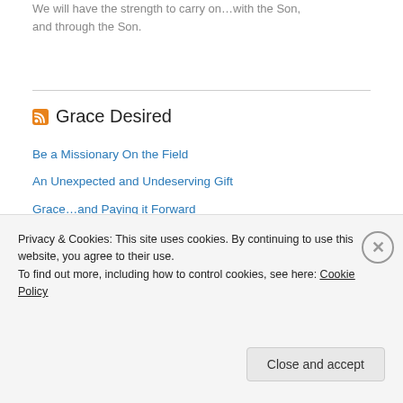We will have the strength to carry on…with the Son, and through the Son.
Grace Desired
Be a Missionary On the Field
An Unexpected and Undeserving Gift
Grace…and Paying it Forward
Reach for the Prize!
“The Crownless Again Shall Be King”
Lenten Special
Privacy & Cookies: This site uses cookies. By continuing to use this website, you agree to their use.
To find out more, including how to control cookies, see here: Cookie Policy
Close and accept